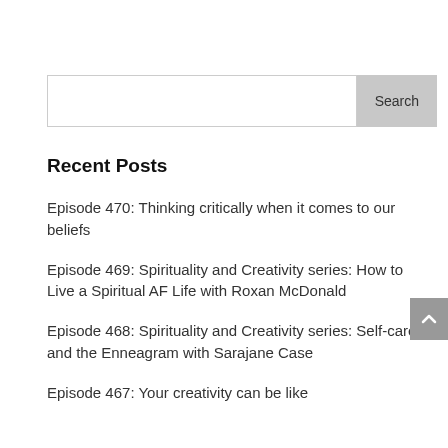Recent Posts
Episode 470: Thinking critically when it comes to our beliefs
Episode 469: Spirituality and Creativity series: How to Live a Spiritual AF Life with Roxan McDonald
Episode 468: Spirituality and Creativity series: Self-care and the Enneagram with Sarajane Case
Episode 467: Your creativity can be like ba...